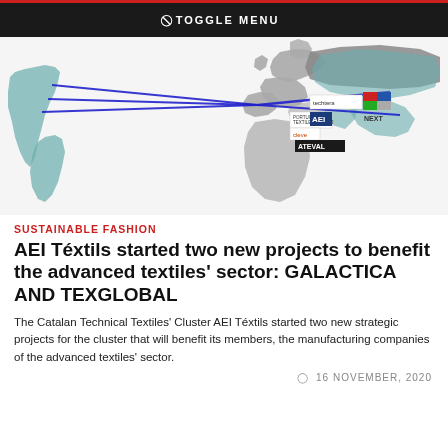⊘ TOGGLE MENU
[Figure (map): World map showing trade/project connections from Spain (Catalonia) with blue arrows pointing to regions across Europe, Asia, and the Americas. Logos of textile cluster organizations visible in Spain area: techtera, AEI, ATEVAL, NEXT, cleve, Portuguese Textile Cluster.]
SUSTAINABLE FASHION
AEI Téxtils started two new projects to benefit the advanced textiles' sector: GALACTICA AND TEXGLOBAL
The Catalan Technical Textiles' Cluster AEI Téxtils started two new strategic projects for the cluster that will benefit its members, the manufacturing companies of the advanced textiles' sector.
⊘ 16 NOVEMBER, 2020